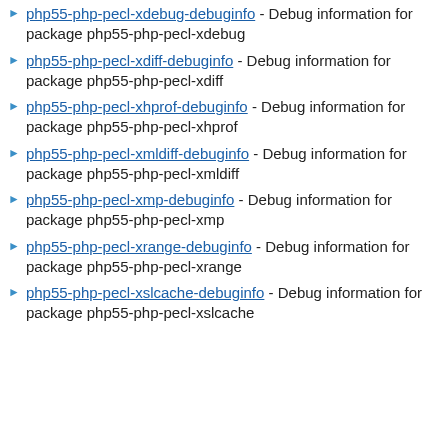php55-php-pecl-xdebug-debuginfo - Debug information for package php55-php-pecl-xdebug
php55-php-pecl-xdiff-debuginfo - Debug information for package php55-php-pecl-xdiff
php55-php-pecl-xhprof-debuginfo - Debug information for package php55-php-pecl-xhprof
php55-php-pecl-xmldiff-debuginfo - Debug information for package php55-php-pecl-xmldiff
php55-php-pecl-xmp-debuginfo - Debug information for package php55-php-pecl-xmp
php55-php-pecl-xrange-debuginfo - Debug information for package php55-php-pecl-xrange
php55-php-pecl-xslcache-debuginfo - Debug information for package php55-php-pecl-xslcache